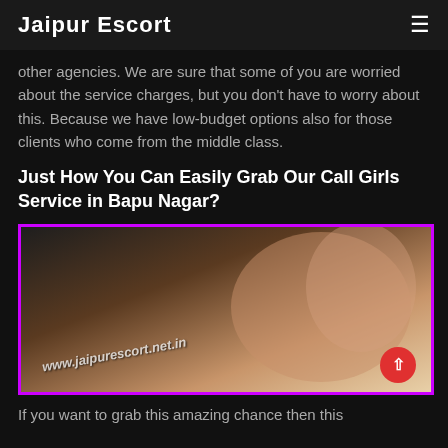Jaipur Escort
other agencies. We are sure that some of you are worried about the service charges, but you don't have to worry about this. Because we have low-budget options also for those clients who come from the middle class.
Just How You Can Easily Grab Our Call Girls Service in Bapu Nagar?
[Figure (photo): Promotional photo with watermark www.jaipurescort.net.in, VIP badge top-left, 100% Guarantee badge top-right, pink/purple border]
If you want to grab this amazing chance then this